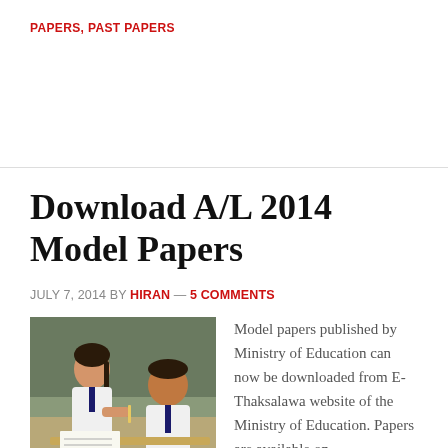PAPERS, PAST PAPERS
Download A/L 2014 Model Papers
JULY 7, 2014 BY HIRAN — 5 COMMENTS
[Figure (photo): Two students in school uniforms writing at desks in a classroom]
Model papers published by Ministry of Education can now be downloaded from E-Thaksalawa website of the Ministry of Education. Papers are available on following subjects: Commerce Stream Accountancy, Business studies, Economics